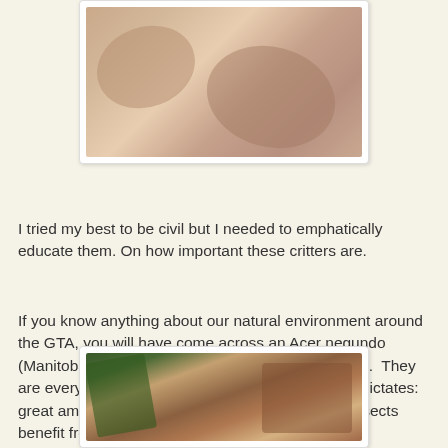[Figure (photo): Close-up photograph of human fingers/skin with visible skin texture and a small dark mark]
I tried my best to be civil but I needed to emphatically educate them. On how important these critters are.
If you know anything about our natural environment around the GTA, you will have come across an Acer negundo (Manitoba Maples - Boxelder Trees) - I guarantee it.  They are everywhere. So this makes sense, no?  Logic dictates: great amounts of food source = more fauna and insects benefit from this food.
[Figure (photo): Photograph showing insects (boxelder bugs) clustered on plant leaves and a wall surface]